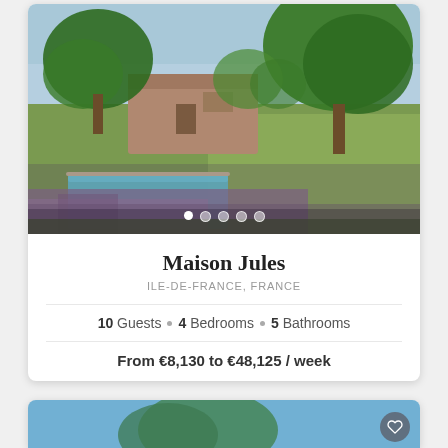[Figure (photo): Outdoor photo of Maison Jules showing a garden with lavender, a swimming pool, green trees, and a stone building in background under blue sky]
Maison Jules
ILE-DE-FRANCE, FRANCE
10 Guests • 4 Bedrooms • 5 Bathrooms
From €8,130 to €48,125 / week
[Figure (photo): Partial photo of a second property card with blue sky and green trees visible]